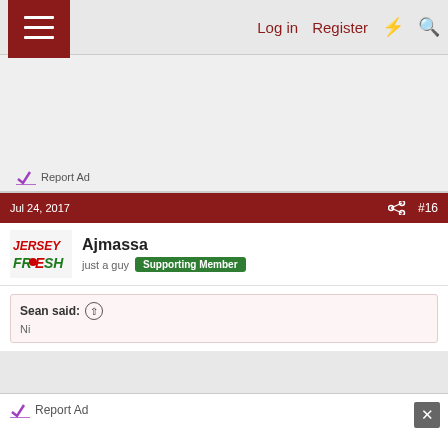Log in  Register
[Figure (other): Advertisement area with Report Ad link]
Report Ad
Jul 24, 2017   #16
Ajmassa  just a guy  Supporting Member
Sean said: Ⓔ
Report Ad